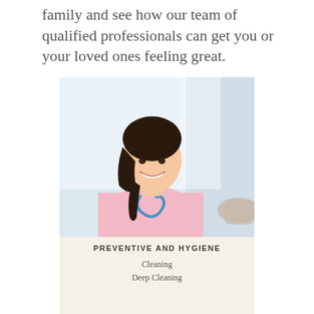family and see how our team of qualified professionals can get you or your loved ones feeling great.
[Figure (photo): Smiling female nurse or healthcare professional in pink scrubs with blue stethoscope, bright clinical background]
PREVENTIVE AND HYGIENE
Cleaning
Deep Cleaning